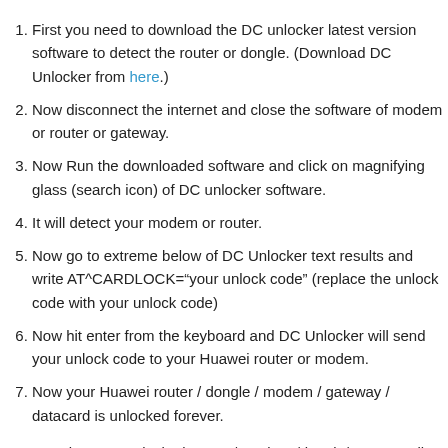First you need to download the DC unlocker latest version software to detect the router or dongle. (Download DC Unlocker from here.)
Now disconnect the internet and close the software of modem or router or gateway.
Now Run the downloaded software and click on magnifying glass (search icon) of DC unlocker software.
It will detect your modem or router.
Now go to extreme below of DC Unlocker text results and write AT^CARDLOCK="your unlock code" (replace the unlock code with your unlock code)
Now hit enter from the keyboard and DC Unlocker will send your unlock code to your Huawei router or modem.
Now your Huawei router / dongle / modem / gateway / datacard is unlocked forever.
Now enjoy your unlocked router / modem /dongle/gateway all